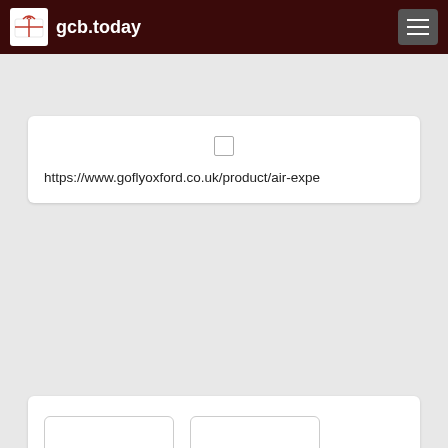gcb.today
https://www.goflyoxford.co.uk/product/air-expe
[Figure (other): Two blank white image placeholders with rounded borders]
““ Go Fly Oxford gift vouchers are available in